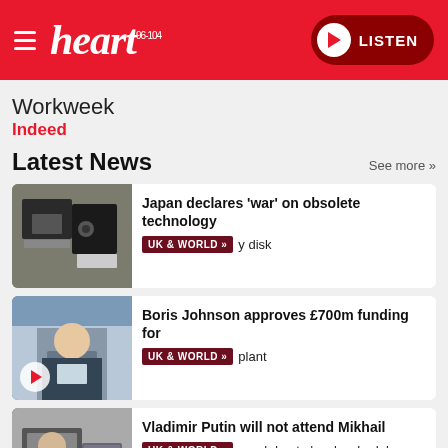[Figure (screenshot): Heart FM radio website header with red background, hamburger menu, Heart 96-104 logo in italic white, and a dark red LISTEN button with play icon on the right]
Workweek
Indeed
Latest News
See more »
[Figure (photo): Floppy disks on a surface]
Japan declares 'war' on obsolete technology
UK & WORLD »  y disk
[Figure (photo): Boris Johnson at a podium with play button overlay]
Boris Johnson approves £700m funding for
UK & WORLD »  plant
[Figure (photo): Vladimir Putin related image with play button overlay]
Vladimir Putin will not attend Mikhail
UK & WORLD »  neral due to 'work schedule...
Weather